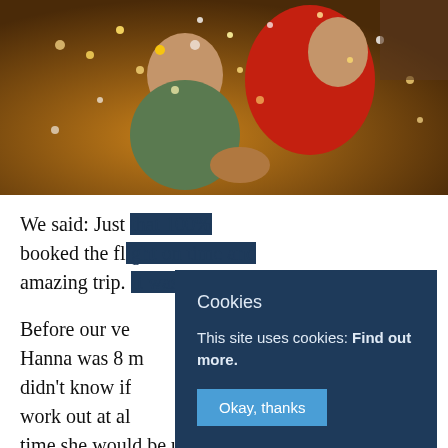[Figure (photo): Two people playing with confetti indoors; one person in a red sweater, another in a patterned shirt, confetti flying around them in a warm-lit room.]
We said: Just [text obscured by cookie overlay] booked the fl[ight for an] amazing trip. [text obscured]
Before our ve[ry departure,] Hanna was 8 m[onths pregnant and we] didn't know if [things would] work out at al[l. We thought every] time she would be unhappy. But she was happy
Cookies
This site uses cookies: Find out more.
Okay, thanks